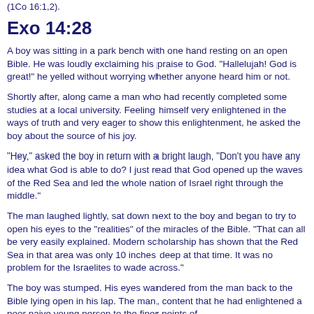(1Co 16:1,2).
Exo 14:28
A boy was sitting in a park bench with one hand resting on an open Bible. He was loudly exclaiming his praise to God. "Hallelujah! God is great!" he yelled without worrying whether anyone heard him or not.
Shortly after, along came a man who had recently completed some studies at a local university. Feeling himself very enlightened in the ways of truth and very eager to show this enlightenment, he asked the boy about the source of his joy.
"Hey," asked the boy in return with a bright laugh, "Don't you have any idea what God is able to do? I just read that God opened up the waves of the Red Sea and led the whole nation of Israel right through the middle."
The man laughed lightly, sat down next to the boy and began to try to open his eyes to the "realities" of the miracles of the Bible. "That can all be very easily explained. Modern scholarship has shown that the Red Sea in that area was only 10 inches deep at that time. It was no problem for the Israelites to wade across."
The boy was stumped. His eyes wandered from the man back to the Bible lying open in his lap. The man, content that he had enlightened a poor naive young person to the finer points of